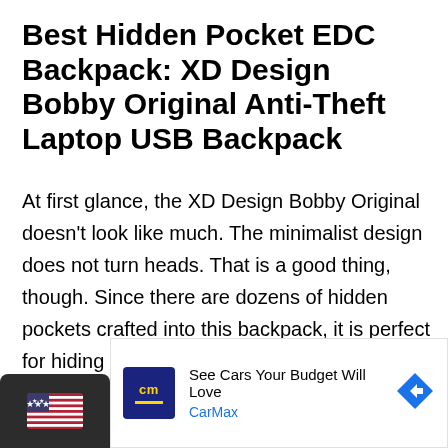Best Hidden Pocket EDC Backpack: XD Design Bobby Original Anti-Theft Laptop USB Backpack
At first glance, the XD Design Bobby Original doesn't look like much. The minimalist design does not turn heads. That is a good thing, though. Since there are dozens of hidden pockets crafted into this backpack, it is perfect for hiding your valuables wherever you go. But none of those pockets are visible to anyone, because they are facing your back. The unique construction also works to limit
[Figure (other): Advertisement: CarMax - See Cars Your Budget Will Love, with CarMax logo (cm in yellow on dark blue background) and a blue diamond-shaped arrow icon]